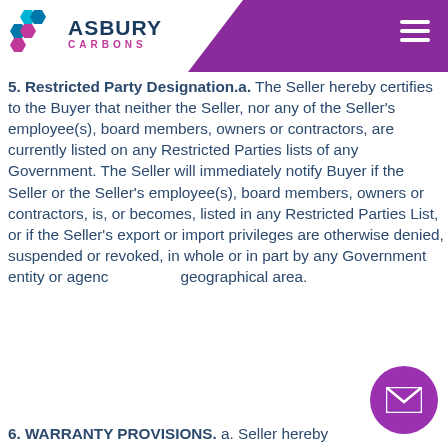Asbury Carbons
5. Restricted Party Designation.a. The Seller hereby certifies to the Buyer that neither the Seller, nor any of the Seller's employee(s), board members, owners or contractors, are currently listed on any Restricted Parties lists of any Government. The Seller will immediately notify Buyer if the Seller or the Seller's employee(s), board members, owners or contractors, is, or becomes, listed in any Restricted Parties List, or if the Seller's export or import privileges are otherwise denied, suspended or revoked, in whole or in part by any Government entity or agency geographical area.
6. WARRANTY PROVISIONS. a. Seller hereby